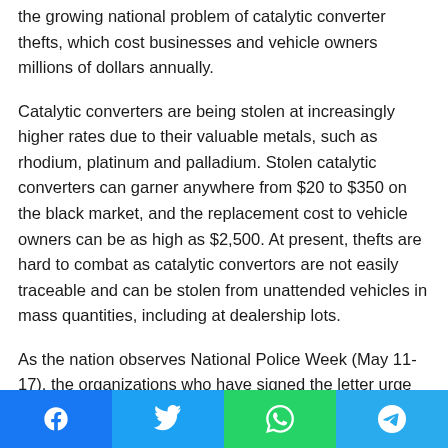the growing national problem of catalytic converter thefts, which cost businesses and vehicle owners millions of dollars annually.
Catalytic converters are being stolen at increasingly higher rates due to their valuable metals, such as rhodium, platinum and palladium. Stolen catalytic converters can garner anywhere from $20 to $350 on the black market, and the replacement cost to vehicle owners can be as high as $2,500. At present, thefts are hard to combat as catalytic convertors are not easily traceable and can be stolen from unattended vehicles in mass quantities, including at dealership lots.
As the nation observes National Police Week (May 11-17), the organizations who have signed the letter urge Congress to pass the bill, which would provide a federal framework needed
[Figure (other): Social sharing bar with Facebook, Twitter, WhatsApp, and Telegram buttons]